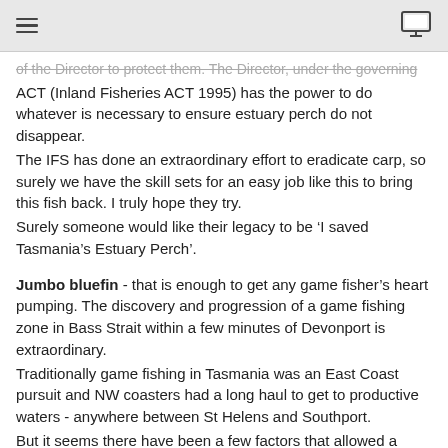[hamburger menu icon] [monitor icon]
of the Director to protect them. The Director, under the governing ACT (Inland Fisheries ACT 1995) has the power to do whatever is necessary to ensure estuary perch do not disappear.
The IFS has done an extraordinary effort to eradicate carp, so surely we have the skill sets for an easy job like this to bring this fish back. I truly hope they try.
Surely someone would like their legacy to be ‘I saved Tasmania’s Estuary Perch’.
Jumbo bluefin - that is enough to get any game fisher’s heart pumping. The discovery and progression of a game fishing zone in Bass Strait within a few minutes of Devonport is extraordinary.
Traditionally game fishing in Tasmania was an East Coast pursuit and NW coasters had a long haul to get to productive waters - anywhere between St Helens and Southport.
But it seems there have been a few factors that allowed a fishery to become productive closer to the NW coast.
One of the biggest factors must surely be the reduction of overfishing the southern bluefin fishery by the Japanese. They were caught red handed selling more fish than their total take quota. The fishery was